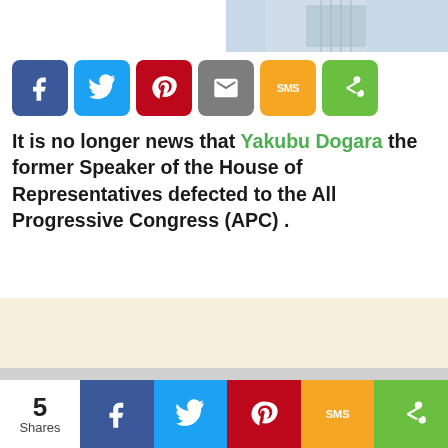[Figure (photo): Partial photo of a person in light blue/white shirt, cropped at top right]
[Figure (infographic): Social share buttons row: Facebook (blue), Twitter (light blue), Pinterest (red), Email (gray), SMS (yellow), Share (green)]
It is no longer news that Yakubu Dogara the former Speaker of the House of Representatives defected to the All Progressive Congress (APC) .
[Figure (other): Cream/beige advertisement block]
[Figure (other): Gray advertisement block]
[Figure (infographic): Bottom share bar: 5 Shares count, then Facebook, Twitter, Pinterest, SMS, Share buttons]